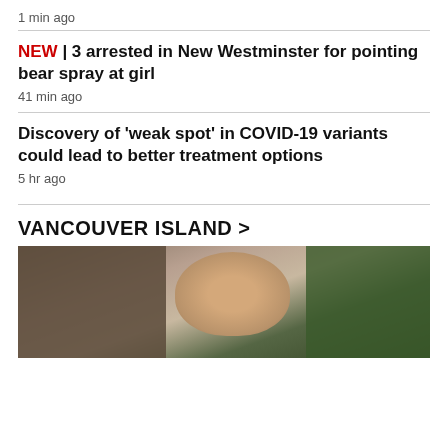1 min ago
NEW | 3 arrested in New Westminster for pointing bear spray at girl
41 min ago
Discovery of 'weak spot' in COVID-19 variants could lead to better treatment options
5 hr ago
VANCOUVER ISLAND >
[Figure (photo): Outdoor photo of an older man with grey hair, standing in front of trees and a brick building, wearing a blue jacket.]